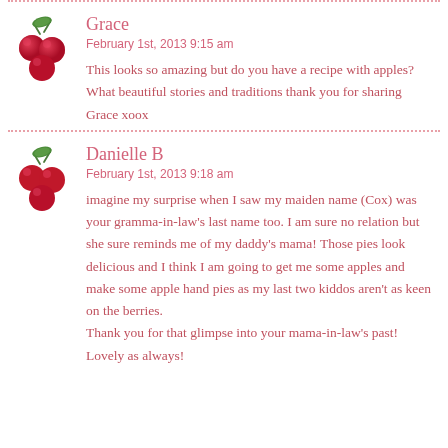Grace
February 1st, 2013 9:15 am
This looks so amazing but do you have a recipe with apples? What beautiful stories and traditions thank you for sharing Grace xoox
Danielle B
February 1st, 2013 9:18 am
imagine my surprise when I saw my maiden name (Cox) was your gramma-in-law's last name too. I am sure no relation but she sure reminds me of my daddy's mama! Those pies look delicious and I think I am going to get me some apples and make some apple hand pies as my last two kiddos aren't as keen on the berries.
Thank you for that glimpse into your mama-in-law's past! Lovely as always!